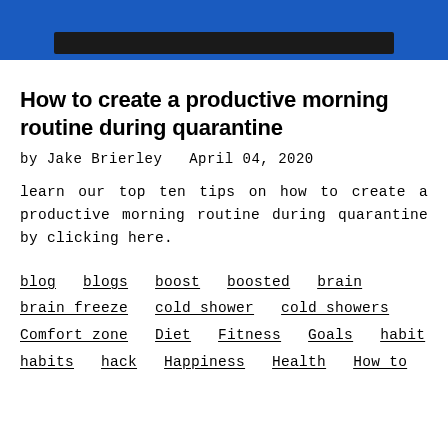[Figure (screenshot): Blue banner header with a dark rectangular bar centered near the bottom]
How to create a productive morning routine during quarantine
by Jake Brierley   April 04, 2020
learn our top ten tips on how to create a productive morning routine during quarantine by clicking here.
blog  blogs  boost  boosted  brain  brain freeze  cold shower  cold showers  Comfort zone  Diet  Fitness  Goals  habit  habits  hack  Happiness  Health  How to